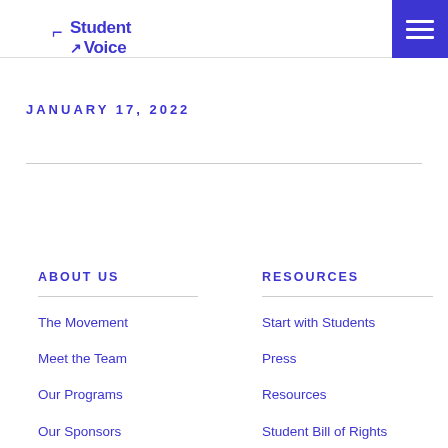Student Voice
JANUARY 17, 2022
ABOUT US
The Movement
Meet the Team
Our Programs
Our Sponsors
RESOURCES
Start with Students
Press
Resources
Student Bill of Rights